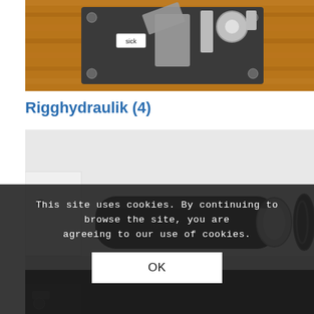[Figure (photo): Top-down view of a hydraulic component/valve assembly with metal parts, bolts, and a label reading 'sick', placed on a wooden floor surface.]
Rigghydraulik (4)
[Figure (photo): Close-up photo of a black cylindrical hydraulic fitting or connector with metal coupling, shown against a light grey/white background.]
This site uses cookies. By continuing to browse the site, you are agreeing to our use of cookies.